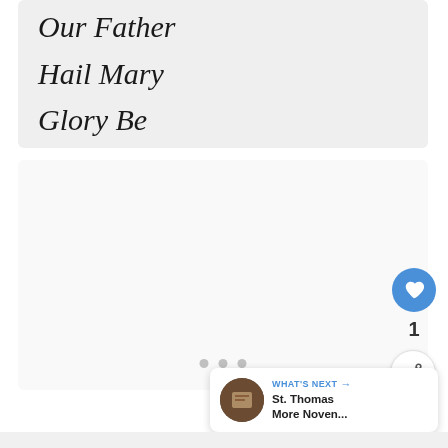Our Father
Hail Mary
Glory Be
[Figure (screenshot): App interface screenshot showing a religious novena app with a list of prayers: Our Father, Hail Mary, Glory Be. UI elements include a like/heart button (blue circle), a share button, a like count of 1, pagination dots, and a 'What's Next' banner showing St. Thomas More Noven...]